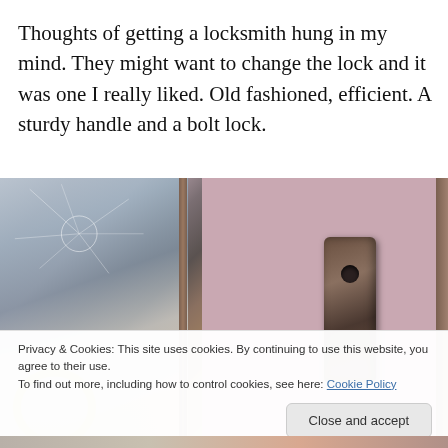Thoughts of getting a locksmith hung in my mind. They might want to change the lock and it was one I really liked. Old fashioned, efficient. A sturdy handle and a bolt lock.
[Figure (photo): Close-up photo of an old-fashioned door lock with a pink/mauve door frame. Left side shows a glass panel with spider web cracks and a gold circular handle visible. Right side shows the pink door with a weathered brass/bronze bolt lock plate mounted on it. A thin wooden door frame separates the glass from the door panel.]
Privacy & Cookies: This site uses cookies. By continuing to use this website, you agree to their use.
To find out more, including how to control cookies, see here: Cookie Policy
Close and accept